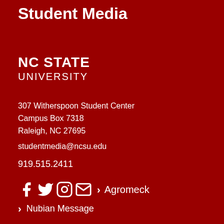Student Media
[Figure (logo): NC STATE UNIVERSITY logo in white text on dark red background]
307 Witherspoon Student Center
Campus Box 7318
Raleigh, NC 27695
studentmedia@ncsu.edu
919.515.2411
[Figure (infographic): Social media icons (Facebook, Twitter, Instagram, Email) followed by chevron and text: Agromeck]
Nubian Message
Roundabout
Technician
Wi...